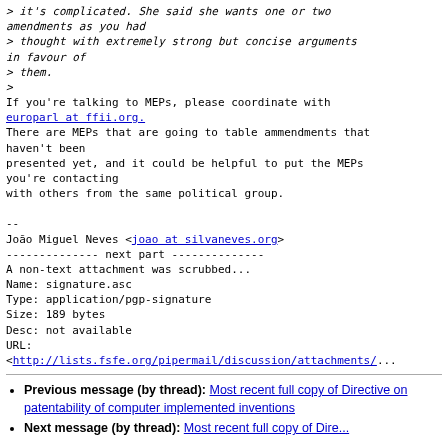> it's complicated. She said she wants one or two amendments as you had
> thought with extremely strong but concise arguments in favour of
> them.
>
If you're talking to MEPs, please coordinate with europarl at ffii.org.
There are MEPs that are going to table ammendments that haven't been
presented yet, and it could be helpful to put the MEPs you're contacting
with others from the same political group.

--
João Miguel Neves <joao at silvaneves.org>
-------------- next part --------------
A non-text attachment was scrubbed...
Name: signature.asc
Type: application/pgp-signature
Size: 189 bytes
Desc: not available
URL:
<http://lists.fsfe.org/pipermail/discussion/attachments/...
Previous message (by thread): Most recent full copy of Directive on patentability of computer implemented inventions
Next message (by thread): Most recent full copy of Directive...